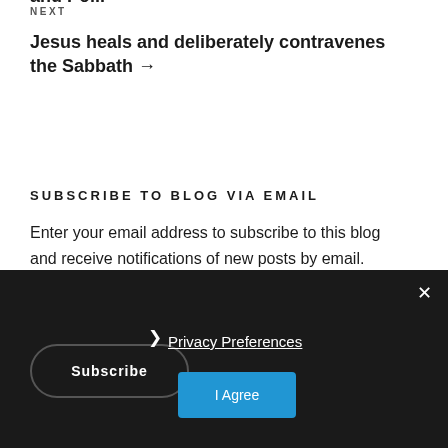and Poll.
NEXT
Jesus heals and deliberately contravenes the Sabbath →
SUBSCRIBE TO BLOG VIA EMAIL
Enter your email address to subscribe to this blog and receive notifications of new posts by email.
Email Address
Subscribe
❯ Privacy Preferences
I Agree